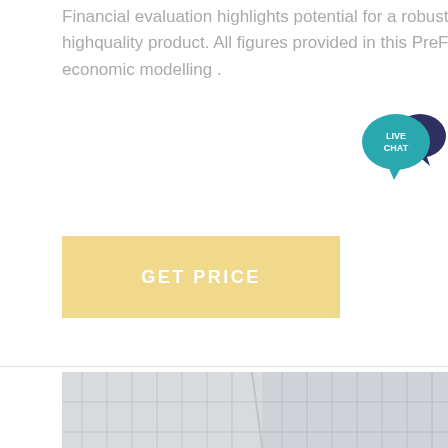Financial evaluation highlights potential for a robust project leveraging existing infrastructure and highquality product. All figures provided in this PreFeasibility Study are real as of Q2 2020. Key economic modelling .
[Figure (other): Live chat speech bubble icon in teal/dark blue colors with 'LIVE CHAT' text]
GET PRICE
[Figure (photo): Industrial or infrastructure building photograph with blue bar at bottom]